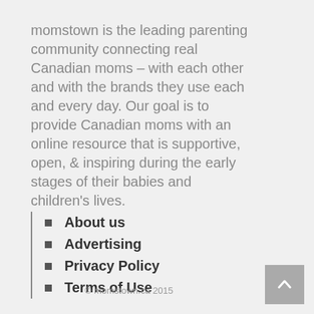momstown is the leading parenting community connecting real Canadian moms – with each other and with the brands they use each and every day. Our goal is to provide Canadian moms with an online resource that is supportive, open, & inspiring during the early stages of their babies and children's lives.
About us
Advertising
Privacy Policy
Terms of Use
© momstown.ca 2015